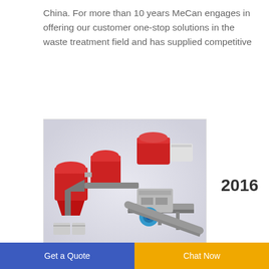China. For more than 10 years MeCan engages in offering our customer one-stop solutions in the waste treatment field and has supplied competitive
[Figure (illustration): 3D rendering of industrial waste treatment machinery with red and grey components, conveyor belts and mechanical arms]
2016
International Workshop on Food Loss and Food Waste
The first International Workshop on Food Loss and Food Waste hosted by the World Bank The Korean
Get a Quote   Chat Now